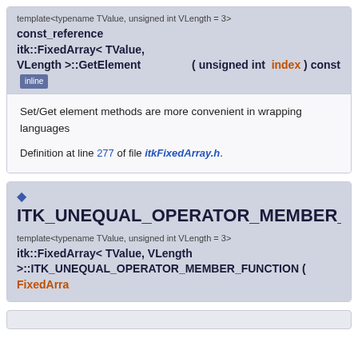template<typename TValue, unsigned int VLength = 3>
const_reference itk::FixedArray< TValue, VLength >::GetElement ( unsigned int index ) const  inline
Set/Get element methods are more convenient in wrapping languages
Definition at line 277 of file itkFixedArray.h.
ITK_UNEQUAL_OPERATOR_MEMBER_FUN
template<typename TValue, unsigned int VLength = 3>
itk::FixedArray< TValue, VLength >::ITK_UNEQUAL_OPERATOR_MEMBER_FUNCTION ( FixedArra